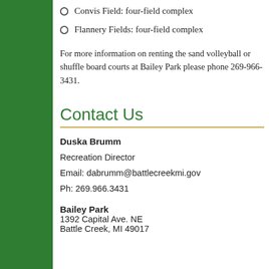Convis Field: four-field complex
Flannery Fields: four-field complex
For more information on renting the sand volleyball or shuffle board courts at Bailey Park please phone 269-966-3431.
Contact Us
Duska Brumm
Recreation Director
Email: dabrumm@battlecreekmi.gov
Ph: 269.966.3431
Bailey Park
1392 Capital Ave. NE
Battle Creek, MI 49017